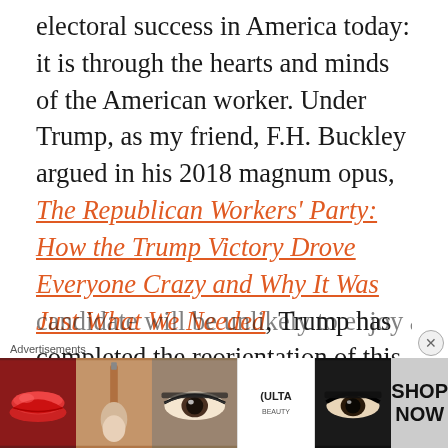electoral success in America today: it is through the hearts and minds of the American worker. Under Trump, as my friend, F.H. Buckley argued in his 2018 magnum opus, The Republican Workers' Party: How the Trump Victory Drove Everyone Crazy and Why It Was Just What We Needed, Trump has completed the reorientation of this vital set of American voters–most of whom inhabit important swing states on the electoral map–just enough so that the typical Democrat candidate will be unlikely to enjoy another...
[Figure (screenshot): Advertisement banner for ULTA beauty showing close-up photos of lips with lipstick, a makeup brush, an eye with makeup, the ULTA logo, another eye, and a SHOP NOW button]